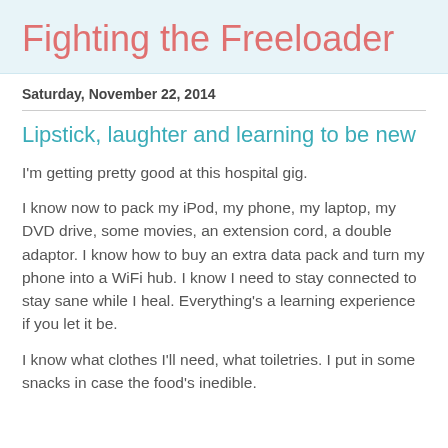Fighting the Freeloader
Saturday, November 22, 2014
Lipstick, laughter and learning to be new
I'm getting pretty good at this hospital gig.
I know now to pack my iPod, my phone, my laptop, my DVD drive, some movies, an extension cord, a double adaptor. I know how to buy an extra data pack and turn my phone into a WiFi hub. I know I need to stay connected to stay sane while I heal. Everything's a learning experience if you let it be.
I know what clothes I'll need, what toiletries. I put in some snacks in case the food's inedible.